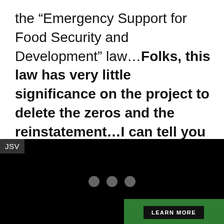the “Emergency Support for Food Security and Development” law…Folks, this law has very little significance on the project to delete the zeros and the reinstatement…I can tell you with
[Figure (screenshot): Dark/black video player area with JSV label in top-left corner and three grey loading dots in the center]
LEARN MORE